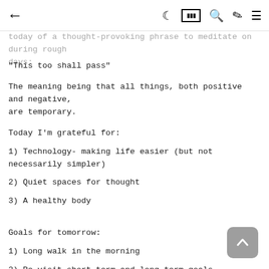← 🌙 ▦ 🔍 🖌 ☰
today of a thought-provoking phrase to meditate on during rough days:
"This too shall pass"
The meaning being that all things, both positive and negative, are temporary.
Today I'm grateful for:
1) Technology- making life easier (but not necessarily simpler)
2) Quiet spaces for thought
3) A healthy body
Goals for tomorrow:
1) Long walk in the morning
2) Re-visit short term and long term goals